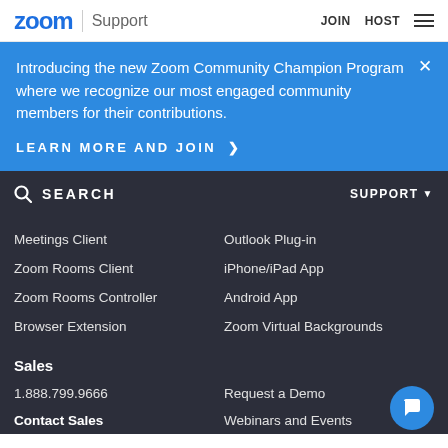zoom | Support  JOIN  HOST
Introducing the new Zoom Community Champion Program where we recognize our most engaged community members for their contributions.
LEARN MORE AND JOIN >
SEARCH  SUPPORT
Meetings Client
Outlook Plug-in
Zoom Rooms Client
iPhone/iPad App
Zoom Rooms Controller
Android App
Browser Extension
Zoom Virtual Backgrounds
Sales
1.888.799.9666
Request a Demo
Contact Sales
Webinars and Events